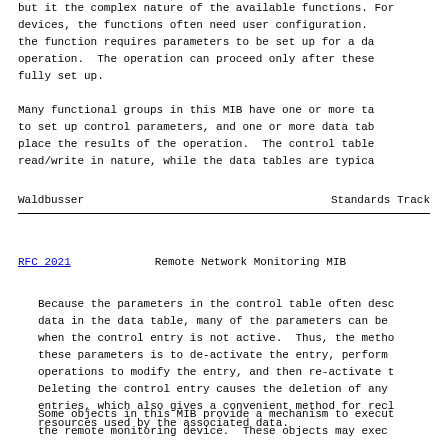but it the complex nature of the available functions. For devices, the functions often need user configuration. Often the function requires parameters to be set up for a data collection operation. The operation can proceed only after these parameters are fully set up.

Many functional groups in this MIB have one or more tables to set up control parameters, and one or more data tables to place the results of the operation. The control tables are read/write in nature, while the data tables are typically
Waldbusser                          Standards Track
RFC 2021                    Remote Network Monitoring MIB
Because the parameters in the control table often describe the data in the data table, many of the parameters can be changed when the control entry is not active. Thus, the method for modifying these parameters is to de-activate the entry, perform the set operations to modify the entry, and then re-activate it. Deleting the control entry causes the deletion of any data entries, which also gives a convenient method for reclaiming resources used by the associated data.
Some objects in this MIB provide a mechanism to execute on the remote monitoring device. These objects may exec